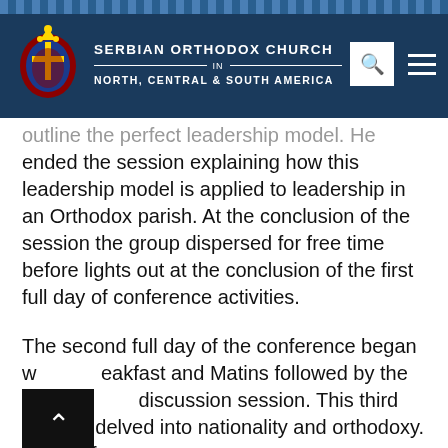SERBIAN ORTHODOX CHURCH IN NORTH, CENTRAL & SOUTH AMERICA
...outline the perfect leadership model. He ended the session explaining how this leadership model is applied to leadership in an Orthodox parish.  At the conclusion of the session the group dispersed for free time before lights out at the conclusion of the first full day of conference activities.
The second full day of the conference began with breakfast and Matins followed by the third major discussion session.  This third session delved into nationality and orthodoxy.  Some of